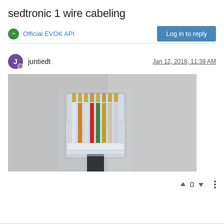sedtronic 1 wire cabeling
Official EVOK API
Log in to reply
juntiedt   Jan 12, 2018, 11:38 AM
[Figure (photo): Close-up photo of an RJ45 (ethernet) connector with multiple colored wires (white, red, green, black, brown/orange) visible through the transparent plastic housing, photographed against a light gray background.]
↑  0  ↓